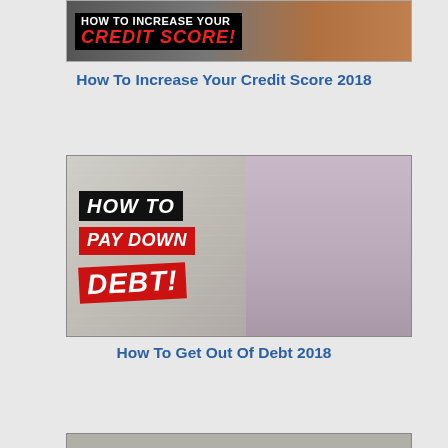[Figure (photo): Cropped thumbnail image showing bold red text 'CREDIT SCORE!' on dark background with a person in an orange vest, partially visible at top of page]
How To Increase Your Credit Score 2018
[Figure (photo): YouTube-style thumbnail image with bold text 'HOW TO PAY DOWN DEBT!' on black and red background blocks, with a smiling man in a lavender shirt gesturing, financial documents and calculator visible in background]
How To Get Out Of Debt 2018
[Figure (photo): Partial thumbnail image visible at bottom of page, cropped]